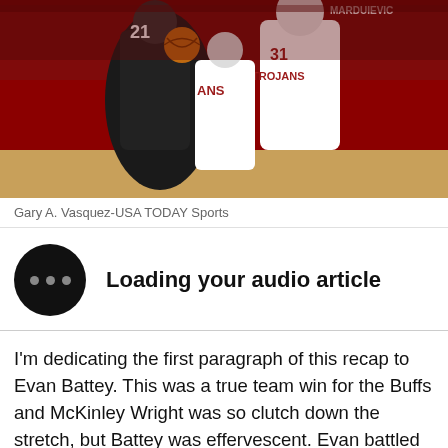[Figure (photo): Basketball game action photo showing players in a USC Trojans game. Player #31 in white USC uniform and player #21 in dark uniform are visible. Red arena background with crowd.]
Gary A. Vasquez-USA TODAY Sports
Loading your audio article
I’m dedicating the first paragraph of this recap to Evan Battey. This was a true team win for the Buffs and McKinley Wright was so clutch down the stretch, but Battey was effervescent. Evan battled all night amidst foul trouble, dominated the post on offense, and made some beautiful outlet passes. He is truly becoming an